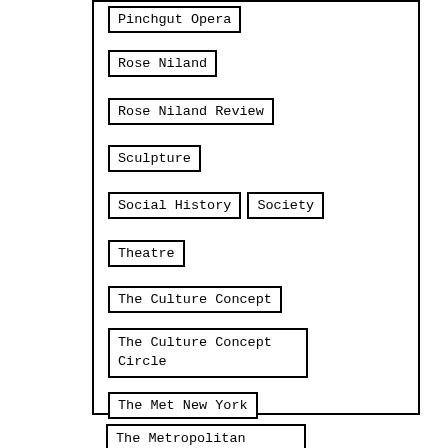Pinchgut Opera
Rose Niland
Rose Niland Review
Sculpture
Social History
Society
Theatre
The Culture Concept
The Culture Concept Circle
The Met New York
The Metropolitan Museum of Art